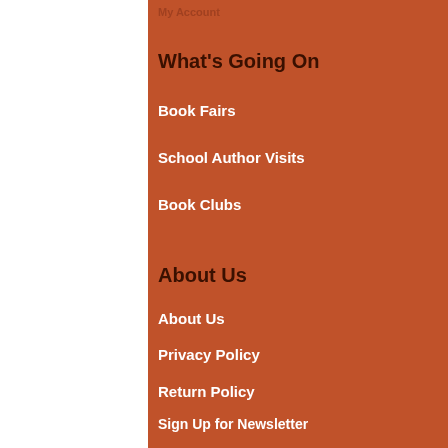My Account
What's Going On
Book Fairs
School Author Visits
Book Clubs
About Us
About Us
Privacy Policy
Return Policy
Sign Up for Newsletter
Read the latest Newsletter